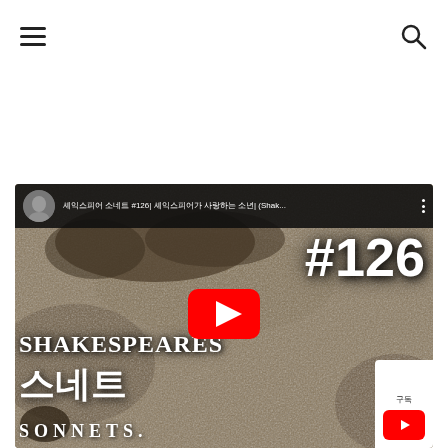Navigation bar with hamburger menu and search icon
[Figure (screenshot): YouTube video thumbnail showing Shakespeare's Sonnets (#126) with Korean text 스네트, channel avatar, video title in Korean, play button, and SHAKESPEARES SONNETS text on aged parchment background]